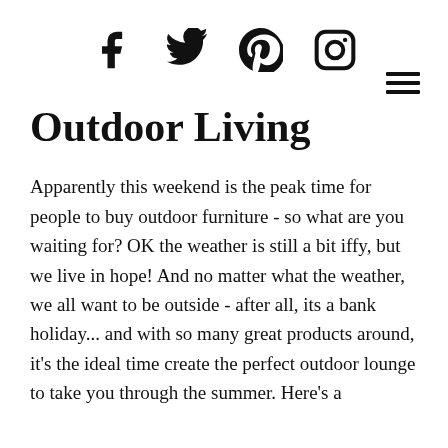[Social media icons: Facebook, Twitter, Pinterest, Instagram] [Hamburger menu]
Outdoor Living
Apparently this weekend is the peak time for people to buy outdoor furniture - so what are you waiting for? OK the weather is still a bit iffy, but we live in hope! And no matter what the weather, we all want to be outside - after all, its a bank holiday... and with so many great products around, it's the ideal time create the perfect outdoor lounge to take you through the summer. Here's a